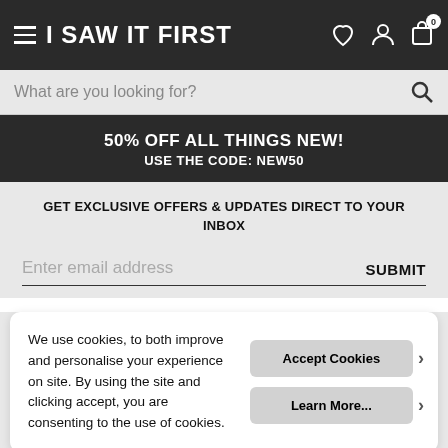I SAW IT FIRST
What are you looking for?
50% OFF ALL THINGS NEW! USE THE CODE: NEW50
GET EXCLUSIVE OFFERS & UPDATES DIRECT TO YOUR INBOX
Enter email address   SUBMIT
We use cookies, to both improve and personalise your experience on site. By using the site and clicking accept, you are consenting to the use of cookies.
Accept Cookies
Learn More...
COMING SOON – NOTIFY ME